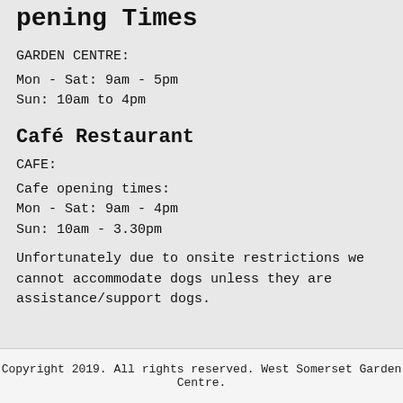Opening Times
GARDEN CENTRE:
Mon - Sat: 9am - 5pm
Sun: 10am to 4pm
Café Restaurant
CAFE:
Cafe opening times:
Mon - Sat: 9am - 4pm
Sun: 10am - 3.30pm
Unfortunately due to onsite restrictions we cannot accommodate dogs unless they are assistance/support dogs.
Copyright 2019. All rights reserved. West Somerset Garden Centre.